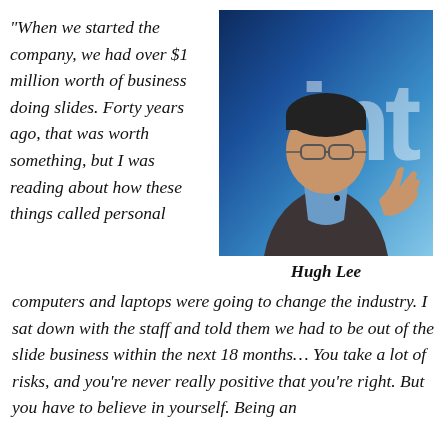“When we started the company, we had over $1 million worth of business doing slides. Forty years ago, that was worth something, but I was reading about how these things called personal computers and laptops were going to change the industry. I sat down with the staff and told them we had to be out of the slide business within the next 18 months... You take a lot of risks, and you’re never really positive that you’re right. But you have to believe in yourself. Being an
[Figure (photo): Hugh Lee speaking at an event with a blue background featuring partial logo text, wearing a dark suit and glasses, gesturing with one hand]
Hugh Lee